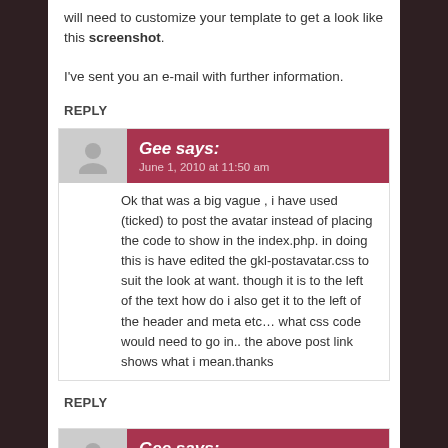will need to customize your template to get a look like this screenshot.
I've sent you an e-mail with further information.
REPLY
Gee says: June 1, 2010 at 11:50 am
Ok that was a big vague , i have used (ticked) to post the avatar instead of placing the code to show in the index.php. in doing this is have edited the gkl-postavatar.css to suit the look at want. though it is to the left of the text how do i also get it to the left of the header and meta etc… what css code would need to go in.. the above post link shows what i mean.thanks
REPLY
Gee says: June 1, 2010 at 7:05 am
Hello, iv tryed for hours to try to get this the way i